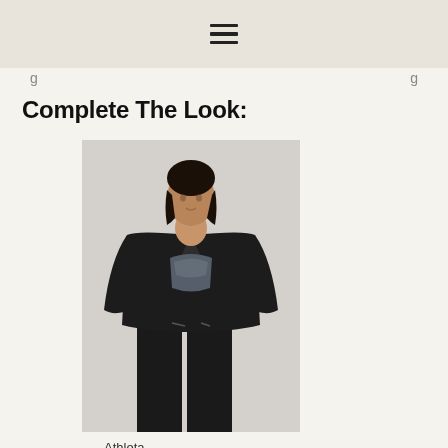Complete The Look:
[Figure (photo): Woman wearing a black open-front cardigan jacket over a dark metallic sports bra and black jogger pants, posing in an athletic wear product shot]
Athleta